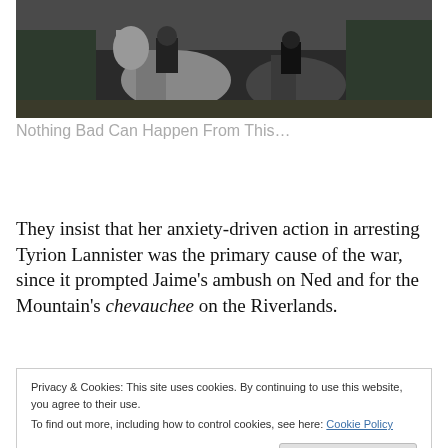[Figure (photo): Partial view of people on horseback, dark/muted tones — top portion of image visible]
Nothing Bad Can Happen From This…
They insist that her anxiety-driven action in arresting Tyrion Lannister was the primary cause of the war, since it prompted Jaime's ambush on Ned and for the Mountain's chevauchee on the Riverlands.
Privacy & Cookies: This site uses cookies. By continuing to use this website, you agree to their use.
To find out more, including how to control cookies, see here: Cookie Policy
[Close and accept]
[Figure (photo): Bottom partial view of another image, dark tones — only top portion visible]